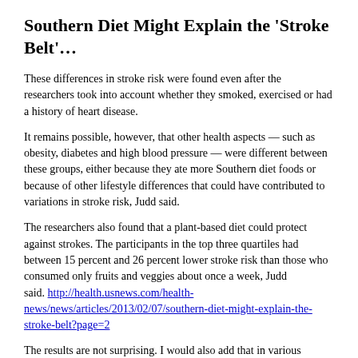Southern Diet Might Explain the 'Stroke Belt'…
These differences in stroke risk were found even after the researchers took into account whether they smoked, exercised or had a history of heart disease.
It remains possible, however, that other health aspects — such as obesity, diabetes and high blood pressure — were different between these groups, either because they ate more Southern diet foods or because of other lifestyle differences that could have contributed to variations in stroke risk, Judd said.
The researchers also found that a plant-based diet could protect against strokes. The participants in the top three quartiles had between 15 percent and 26 percent lower stroke risk than those who consumed only fruits and veggies about once a week, Judd said. http://health.usnews.com/health-news/news/articles/2013/02/07/southern-diet-might-explain-the-stroke-belt?page=2
The results are not surprising. I would also add that in various